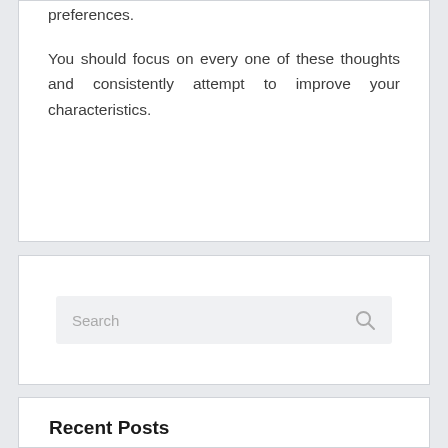preferences.

You should focus on every one of these thoughts and consistently attempt to improve your characteristics.
Search
Recent Posts